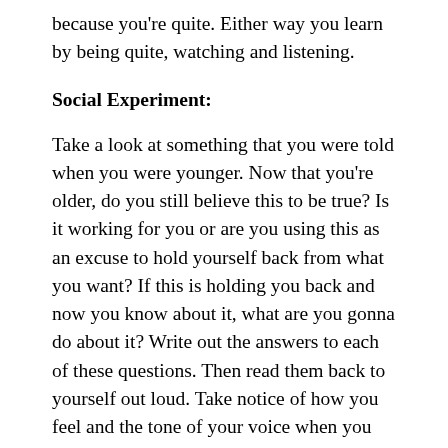because you're quite. Either way you learn by being quite, watching and listening.
Social Experiment:
Take a look at something that you were told when you were younger. Now that you're older, do you still believe this to be true? Is it working for you or are you using this as an excuse to hold yourself back from what you want? If this is holding you back and now you know about it, what are you gonna do about it? Write out the answers to each of these questions. Then read them back to yourself out loud. Take notice of how you feel and the tone of your voice when you read what you wrote.